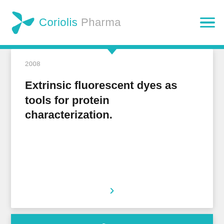Coriolis Pharma
2008
Extrinsic fluorescent dyes as tools for protein characterization.
2018